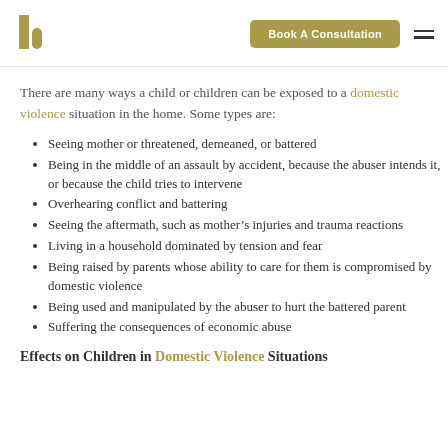Book A Consultation
There are many ways a child or children can be exposed to a domestic violence situation in the home. Some types are:
Seeing mother or threatened, demeaned, or battered
Being in the middle of an assault by accident, because the abuser intends it, or because the child tries to intervene
Overhearing conflict and battering
Seeing the aftermath, such as mother’s injuries and trauma reactions
Living in a household dominated by tension and fear
Being raised by parents whose ability to care for them is compromised by domestic violence
Being used and manipulated by the abuser to hurt the battered parent
Suffering the consequences of economic abuse
Effects on Children in Domestic Violence Situations